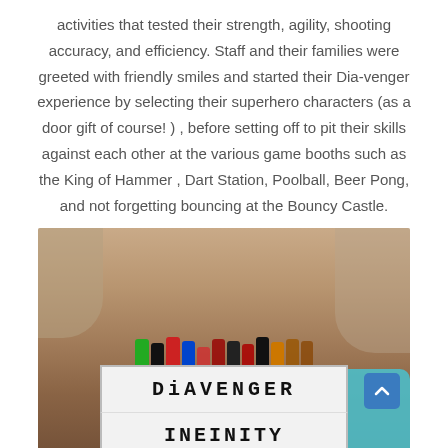activities that tested their strength, agility, shooting accuracy, and efficiency. Staff and their families were greeted with friendly smiles and started their Dia-venger experience by selecting their superhero characters (as a door gift of course! ) , before setting off to pit their skills against each other at the various game booths such as the King of Hammer , Dart Station, Poolball, Beer Pong, and not forgetting bouncing at the Bouncy Castle.
[Figure (photo): Photo of a light-up sign spelling 'DIAVENGER' on the top row and 'INFINITY' on the bottom row, with LEGO superhero minifigures lined up on top of the sign. A teal/turquoise ottoman or seating is visible in the background on the right.]